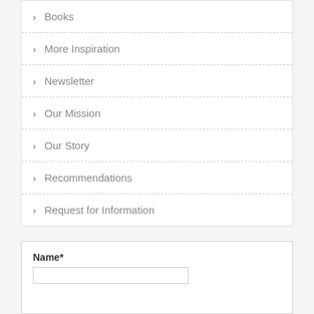Books
More Inspiration
Newsletter
Our Mission
Our Story
Recommendations
Request for Information
Name*